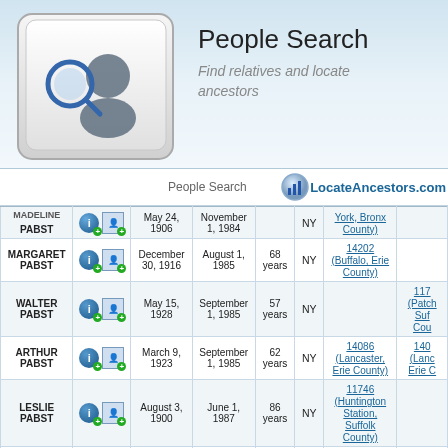[Figure (logo): Keyboard key icon with magnifying glass and person silhouette]
People Search
Find relatives and locate ancestors
People Search
[Figure (logo): LocateAncestors.com logo with circular genealogy icon]
| Name | Icons | Birth | Death | Age | State | Last Zip | Previous Zip |
| --- | --- | --- | --- | --- | --- | --- | --- |
| MADELINE PABST |  | May 24, 1906 | November 1, 1984 | NY years | NY | York, Bronx County) |  |
| MARGARET PABST |  | December 30, 1916 | August 1, 1985 | 68 years | NY | 14202 (Buffalo, Erie County) |  |
| WALTER PABST |  | May 15, 1928 | September 1, 1985 | 57 years | NY |  | 117 (Patch Suf Cou |
| ARTHUR PABST |  | March 9, 1923 | September 1, 1985 | 62 years | NY | 14086 (Lancaster, Erie County) | 140 (Lanc Erie C |
| LESLIE PABST |  | August 3, 1900 | June 1, 1987 | 86 years | NY | 11746 (Huntington Station, Suffolk County) |  |
| ANDREW PABST |  | March 19, 1910 | December 1, 1987 | 77 years | NY | 14150 (Tonawanda, Erie County) |  |
| WINIFRED PABST |  | November 1, 1908 | October 15, 1990 | 81 years | NY | 11550 (Hempstead, Nassau County) |  |